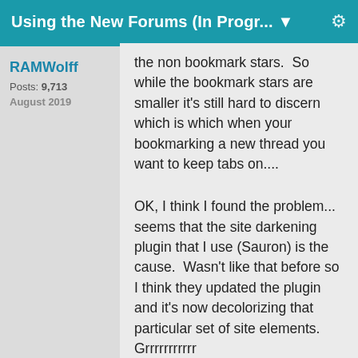Using the New Forums (In Progr... ▼
RAMWolff
Posts: 9,713
August 2019
the non bookmark stars.  So while the bookmark stars are smaller it's still hard to discern which is which when your bookmarking a new thread you want to keep tabs on....
OK, I think I found the problem... seems that the site darkening plugin that I use (Sauron) is the cause.  Wasn't like that before so I think they updated the plugin and it's now decolorizing that particular set of site elements.  Grrrrrrrrrrr